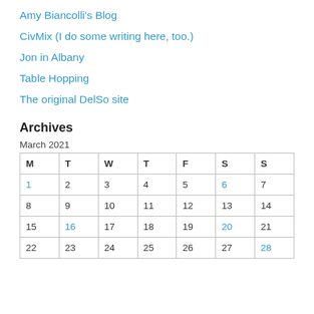Amy Biancolli's Blog
CivMix (I do some writing here, too.)
Jon in Albany
Table Hopping
The original DelSo site
Archives
March 2021
| M | T | W | T | F | S | S |
| --- | --- | --- | --- | --- | --- | --- |
| 1 | 2 | 3 | 4 | 5 | 6 | 7 |
| 8 | 9 | 10 | 11 | 12 | 13 | 14 |
| 15 | 16 | 17 | 18 | 19 | 20 | 21 |
| 22 | 23 | 24 | 25 | 26 | 27 | 28 |